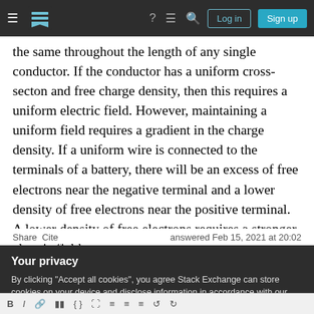Stack Exchange navigation bar with hamburger menu, logo, help, chat, search icons, Log in and Sign up buttons
the same throughout the length of any single conductor. If the conductor has a uniform cross-secton and free charge density, then this requires a uniform electric field. However, maintaining a uniform field requires a gradient in the charge density. If a uniform wire is connected to the terminals of a battery, there will be an excess of free electrons near the negative terminal and a lower density of free electrons near the positive terminal. A lower density of free electrons requires a stronger electric field.
Share  Cite  answered Feb 15, 2021 at 20:02
Your privacy
By clicking "Accept all cookies", you agree Stack Exchange can store cookies on your device and disclose information in accordance with our Cookie Policy.
Accept all cookies  Customize settings